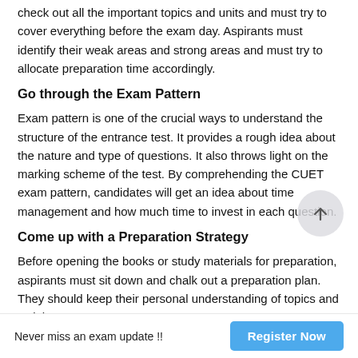check out all the important topics and units and must try to cover everything before the exam day. Aspirants must identify their weak areas and strong areas and must try to allocate preparation time accordingly.
Go through the Exam Pattern
Exam pattern is one of the crucial ways to understand the structure of the entrance test. It provides a rough idea about the nature and type of questions. It also throws light on the marking scheme of the test. By comprehending the CUET exam pattern, candidates will get an idea about time management and how much time to invest in each question.
Come up with a Preparation Strategy
Before opening the books or study materials for preparation, aspirants must sit down and chalk out a preparation plan. They should keep their personal understanding of topics and weightage
Never miss an exam update !!